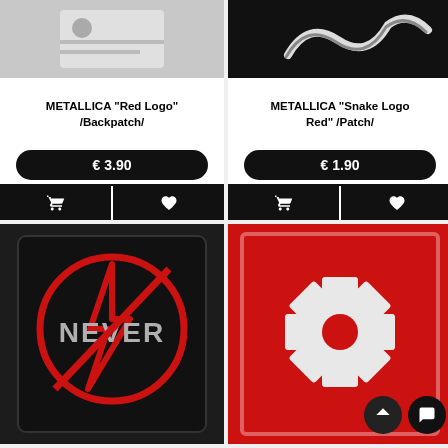[Figure (photo): Top portion of Metallica Red Logo backpatch product image on white background]
METALLICA "Red Logo" /Backpatch/
€ 3.90
[Figure (photo): Top portion of Metallica Snake Logo Red patch image on black background]
METALLICA "Snake Logo Red" /Patch/
€ 1.90
[Figure (photo): Metallica 'Through The Never' patch - black background with red circle/lightning bolt logo and NEVER text]
[Figure (photo): Metallica ninja star / Metalmaniac logo patch on red background with white star design]